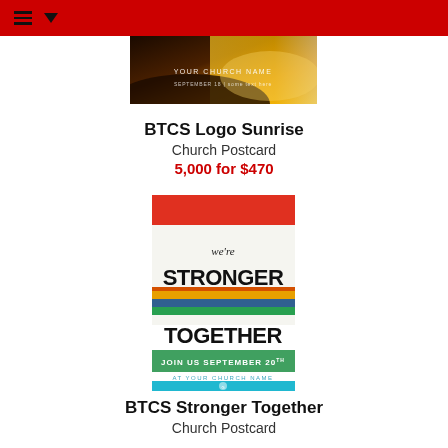Navigation header bar with hamburger menu and dropdown arrow
[Figure (photo): BTCS Logo Sunrise church postcard image - partial view showing a sunrise landscape with text 'YOUR CHURCH NAME']
BTCS Logo Sunrise
Church Postcard
5,000 for $470
[Figure (photo): BTCS Stronger Together church postcard - tall format with red top, 'we're STRONGER TOGETHER' text with colorful rope image, green banner 'JOIN US SEPTEMBER 20th', 'AT YOUR CHURCH NAME', and teal bottom with logo]
BTCS Stronger Together
Church Postcard